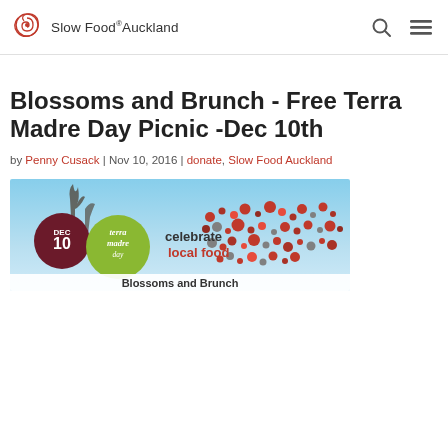Slow Food Auckland
Blossoms and Brunch - Free Terra Madre Day Picnic -Dec 10th
by Penny Cusack | Nov 10, 2016 | donate, Slow Food Auckland
[Figure (photo): Terra Madre Day promotional banner showing a world map made of coloured dots, with 'DEC 10 terra madre day' logo on the left and 'celebrate local food' text in the center, with 'Blossoms and Brunch' text partially visible at the bottom]